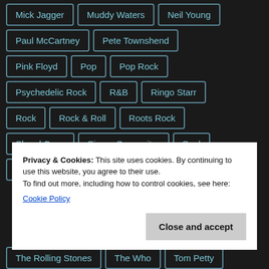Mick Jagger
Muddy Waters
Neil Young
Paul McCartney
Pete Townshend
Pink Floyd
Pop
Pop Rock
Psychedelic Rock
R&B
Ringo Starr
Rock
Rock & Roll
Roots Rock
Sheryl Crow
Singer-Songwriter
Soul
Southern Rock
Steely Dan
Privacy & Cookies: This site uses cookies. By continuing to use this website, you agree to their use.
To find out more, including how to control cookies, see here:
Cookie Policy
The Rolling Stones
The Who
Tom Petty